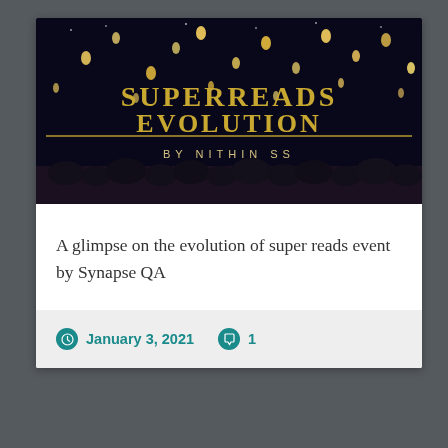[Figure (illustration): Dark night sky background with floating lanterns. Gold serif text reads 'SUPERREADS EVOLUTION' with a decorative gold horizontal line beneath, and smaller spaced text 'BY NITHIN SS' below that.]
A glimpse on the evolution of super reads event by Synapse QA
January 3, 2021   1